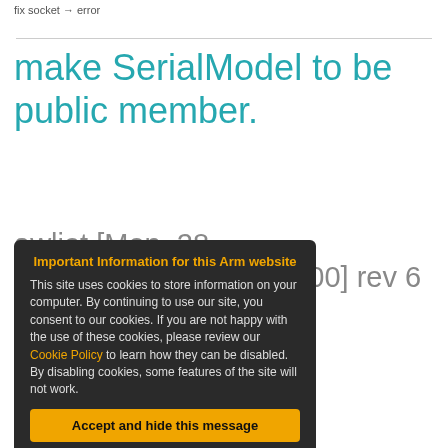fix socket → error
make SerialModel to be public member.
awliet [Mon, 28 A... 2014 13:01:23 +0000] rev 6
member.
error in
GPRSInterface h)
[Figure (other): Cookie consent modal overlay with title 'Important Information for this Arm website', body text about cookie policy, a 'Cookie Policy' link, and an 'Accept and hide this message' button.]